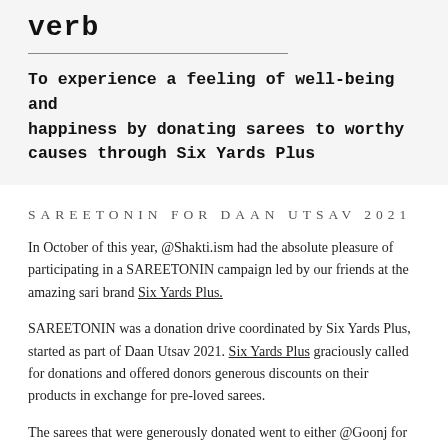verb
To experience a feeling of well-being and happiness by donating sarees to worthy causes through Six Yards Plus
SAREETONIN FOR DAAN UTSAV 2021
In October of this year, @Shakti.ism had the absolute pleasure of participating in a SAREETONIN campaign led by our friends at the amazing sari brand Six Yards Plus.
SAREETONIN was a donation drive coordinated by Six Yards Plus, started as part of Daan Utsav 2021. Six Yards Plus graciously called for donations and offered donors generous discounts on their products in exchange for pre-loved sarees.
The sarees that were generously donated went to either @Goonj for direct donation and further use, or to one of the artisan teams @ Shakti for reuse/it...